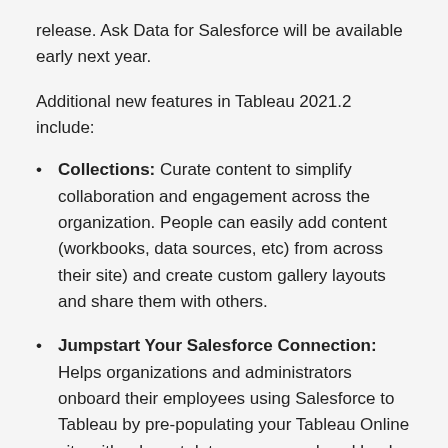release. Ask Data for Salesforce will be available early next year.
Additional new features in Tableau 2021.2 include:
Collections: Curate content to simplify collaboration and engagement across the organization. People can easily add content (workbooks, data sources, etc) from across their site) and create custom gallery layouts and share them with others.
Jumpstart Your Salesforce Connection: Helps organizations and administrators onboard their employees using Salesforce to Tableau by pre-populating your Tableau Online site with relevant data sources and workbooks that accelerate exploration of Salesforce data.
Connected desktop for web authoring: Enables Creators to transition seamlessly from web authoring